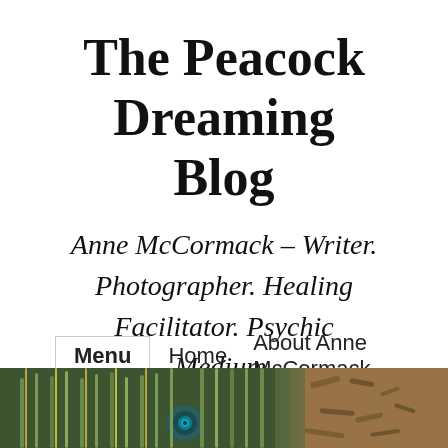The Peacock Dreaming Blog
Anne McCormack – Writer. Photographer. Healing Facilitator. Psychic Medium.
Menu   Home   About Anne McCormack
[Figure (photo): Peacock feathers close-up photograph showing green and teal plumage with distinctive eye pattern, also showing brown mulch/ground on the right side.]